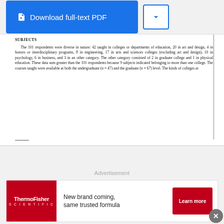[Figure (screenshot): Download full-text PDF button and chevron dropdown button in blue on grey background]
SUBJECTS
The 101 respondents were diverse in nature: 42 taught in colleges or departments of education, 20 in art and design, 4 in honors or interdisciplinary programs, 8 in engineering, 17 in arts and sciences colleges (excluding art and design), 10 in psychology, 6 in business, and 3 in an other category. The other category consisted of 2 in graduate college and 1 in physical education. These data sum greater than the 101 respondents because 9 subjects indicated belonging to more than one college. The courses taught were available at both the undergraduate (n = 47) and the graduate (n = 67) level. The kinds of colleges at
Advertisement
[Figure (other): ThermoFisher Scientific advertisement banner: 'New brand coming, same trusted formula' with Learn more button]